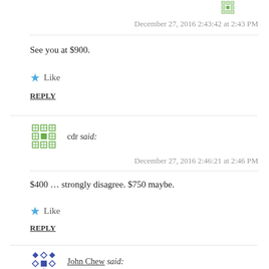[Figure (illustration): Green geometric avatar icon (top, partially visible)]
December 27, 2016 2:43:42 at 2:43 PM
See you at $900.
Like
REPLY
[Figure (illustration): Green geometric avatar icon for user 'cdr']
cdr said:
December 27, 2016 2:46:21 at 2:46 PM
$400 … strongly disagree. $750 maybe.
Like
REPLY
[Figure (illustration): Blue geometric avatar icon for user 'John Chew']
John Chew said:
December 27, 2016 3:38:10 at 3:38 PM
How about $30. Gold has to go below $20 to turn